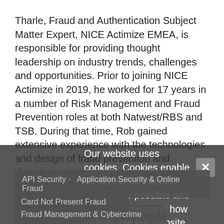Tharle, Fraud and Authentication Subject Matter Expert, NICE Actimize EMEA, is responsible for providing thought leadership on industry trends, challenges and opportunities. Prior to joining NICE Actimize in 2019, he worked for 17 years in a number of Risk Management and Fraud Prevention roles at both Natwest/RBS and TSB. During that time, Rob gained extensive experience with the technologies and design of fraud prevention and detection systems including application fraud, Apple and Google Pay, online and mobile banking.
Our website uses cookies. Cookies enable us to provide the best experience possible and help us understand how visitors use our website. By browsing govinfosecurity.com, you agree to our use of cookies.
API Security · Application Security & Online Fraud
Card Not Present Fraud
Fraud Management & Cybercrime